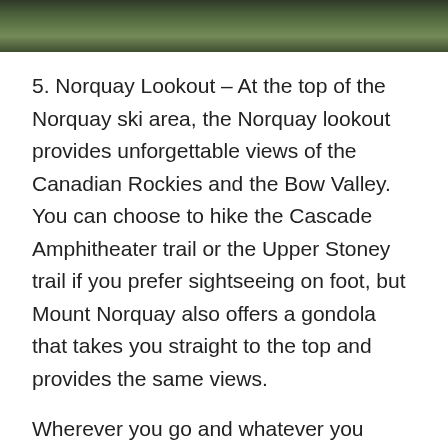[Figure (photo): Aerial or landscape photo of a forested mountainous area, shown as a dark strip at the top of the page.]
5. Norquay Lookout – At the top of the Norquay ski area, the Norquay lookout provides unforgettable views of the Canadian Rockies and the Bow Valley. You can choose to hike the Cascade Amphitheater trail or the Upper Stoney trail if you prefer sightseeing on foot, but Mount Norquay also offers a gondola that takes you straight to the top and provides the same views.
Wherever you go and whatever you decide to do in Banff, these five destinations are some of the best the park has to offer. For more information on planning a trip to Banff, check out Banff National